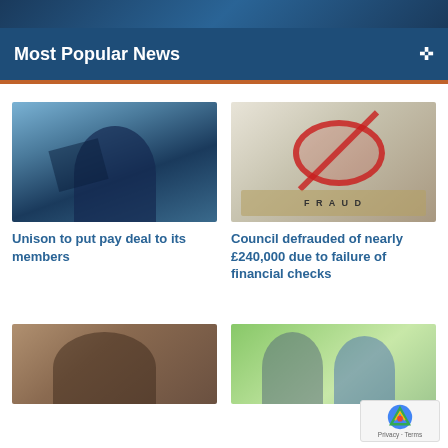[Figure (photo): Top banner with decorative gradient/logo area]
Most Popular News
[Figure (photo): Man shielding eyes outdoors near protest banners including Unison union flag]
Unison to put pay deal to its members
[Figure (photo): Hands holding a red prohibition sign over wooden blocks spelling FRAUD]
Council defrauded of nearly £240,000 due to failure of financial checks
[Figure (photo): Man sitting on brown leather sofa]
[Figure (photo): Elderly couple jogging outdoors in sportswear]